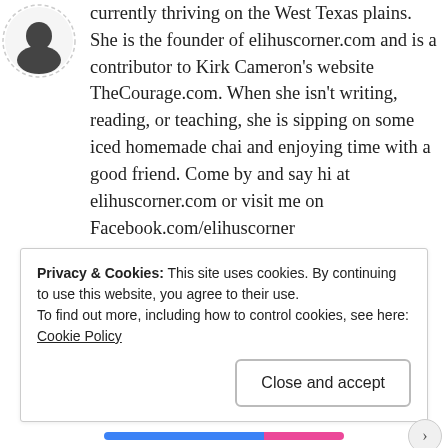[Figure (illustration): Circular author avatar with a silhouette illustration, partially cropped at top-left]
currently thriving on the West Texas plains. She is the founder of elihuscorner.com and is a contributor to Kirk Cameron's website TheCourage.com. When she isn't writing, reading, or teaching, she is sipping on some iced homemade chai and enjoying time with a good friend. Come by and say hi at elihuscorner.com or visit me on Facebook.com/elihuscorner
View all posts by Elihu
Privacy & Cookies: This site uses cookies. By continuing to use this website, you agree to their use.
To find out more, including how to control cookies, see here: Cookie Policy
Close and accept